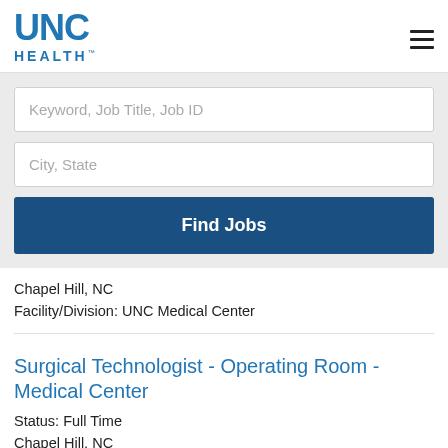[Figure (logo): UNC Health logo in blue]
Keyword, Job Title, Job ID
City, State
Find Jobs
Chapel Hill, NC
Facility/Division: UNC Medical Center
Surgical Technologist - Operating Room - Medical Center
Status: Full Time
Chapel Hill, NC
Facility/Division: UNC Medical Center